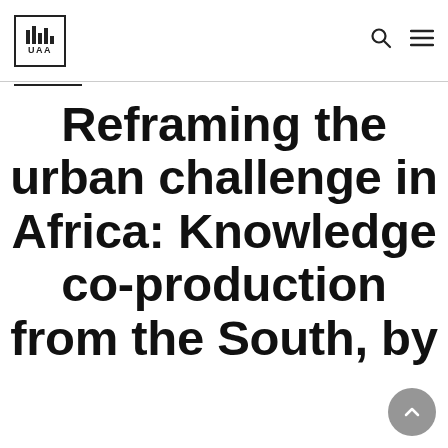UAA logo, search icon, menu icon
Reframing the urban challenge in Africa: Knowledge co-production from the South, by